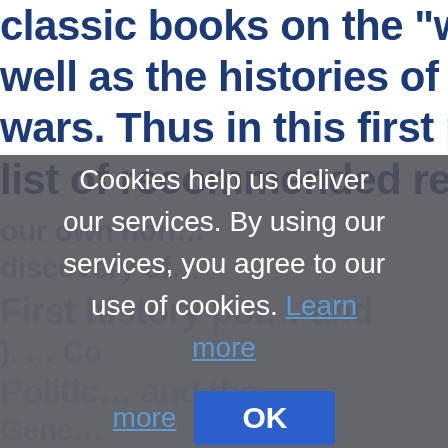classic books on the "war on dru... well as the histories of America's wars. Thus in this first part I'll pro... list of recommended reading on...
Cookies help us deliver our services. By using our services, you agree to our use of cookies. Learn more
OK